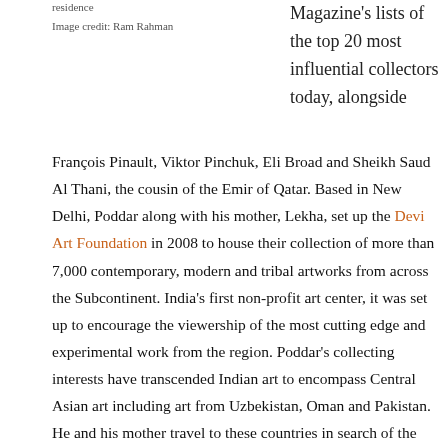residence
Image credit: Ram Rahman
Magazine's lists of the top 20 most influential collectors today, alongside
François Pinault, Viktor Pinchuk, Eli Broad and Sheikh Saud Al Thani, the cousin of the Emir of Qatar. Based in New Delhi, Poddar along with his mother, Lekha, set up the Devi Art Foundation in 2008 to house their collection of more than 7,000 contemporary, modern and tribal artworks from across the Subcontinent. India's first non-profit art center, it was set up to encourage the viewership of the most cutting edge and experimental work from the region. Poddar's collecting interests have transcended Indian art to encompass Central Asian art including art from Uzbekistan, Oman and Pakistan. He and his mother travel to these countries in search of the best art and talent. The exhibitions at the Foundation are curated out of their collection. In 2010, the